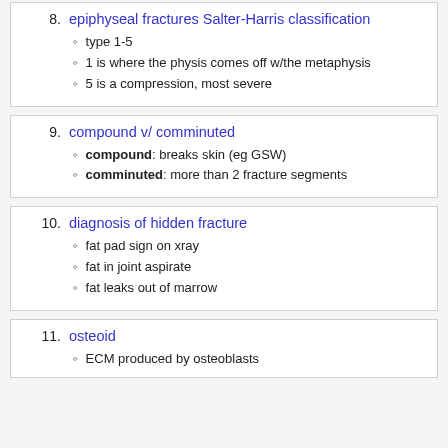8. epiphyseal fractures Salter-Harris classification
type 1-5
1 is where the physis comes off w/the metaphysis
5 is a compression, most severe
9. compound v/ comminuted
compound: breaks skin (eg GSW)
comminuted: more than 2 fracture segments
10. diagnosis of hidden fracture
fat pad sign on xray
fat in joint aspirate
fat leaks out of marrow
11. osteoid
ECM produced by osteoblasts